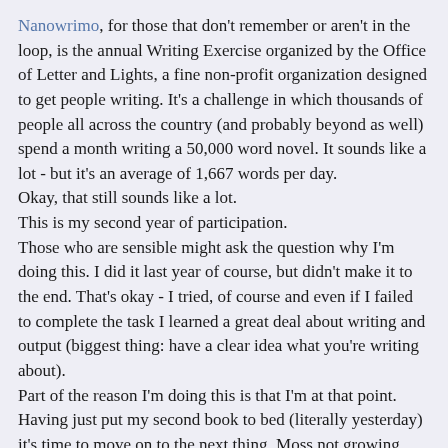Nanowrimo, for those that don't remember or aren't in the loop, is the annual Writing Exercise organized by the Office of Letter and Lights, a fine non-profit organization designed to get people writing.  It's a challenge in which thousands of people all across the country (and probably beyond as well) spend a month writing a 50,000 word novel.  It sounds like a lot - but it's an average of 1,667 words per day.
Okay, that still sounds like a lot.
This is my second year of participation.
Those who are sensible might ask the question why I'm doing this.  I did it last year of course, but didn't make it to the end.  That's okay - I tried, of course and even if I failed to complete the task I learned a great deal about writing and output  (biggest thing:  have a clear idea what you're writing about).
Part of the reason I'm doing this is that I'm at that point.  Having just put my second book to bed (literally yesterday) it's time to move on to the next thing.  Moss not growing, rolling stone, that sort of thing.